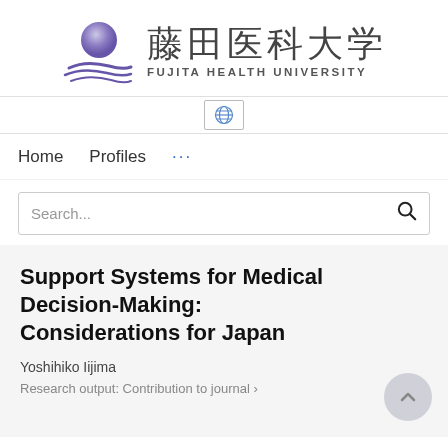[Figure (logo): Fujita Health University logo with globe-like sphere and wave design, alongside Japanese kanji 藤田医科大学 and English text FUJITA HEALTH UNIVERSITY]
[Figure (screenshot): Language selector button with globe icon]
Home   Profiles   ...
Search...
Support Systems for Medical Decision-Making: Considerations for Japan
Yoshihiko Iijima